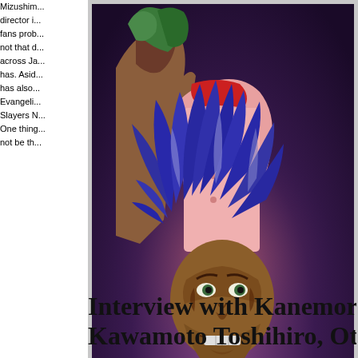[Figure (illustration): Anime artwork showing three characters: a character with green hair on the left, another character in a red jacket behind, and a central character with wild dark blue/purple hair and a fierce expression in the foreground. Background is dark purple.]
Mizushim... director i... fans prob... not that d... across Ja... has. Asid... has also... Evangeli... Slayers N... One thing... not be th...
Interview with Kanemori Yos... Kawamoto Toshihiro, Otakon...